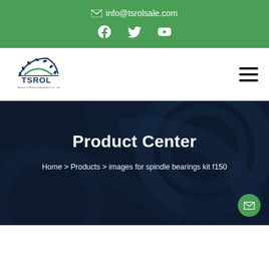✉ info@tsrolsale.com
[Figure (logo): TSROL company logo with gear and arc graphic, text reads Henan Taisheng Equipment Co. Ltd]
Product Center
Home > Products > images for spindle bearings kit f150